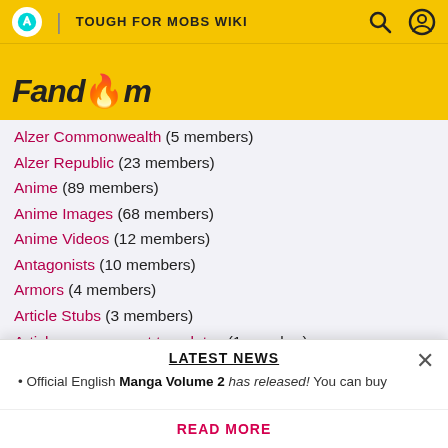TOUGH FOR MOBS WIKI | Fandom
Alzer Commonwealth (5 members)
Alzer Republic (23 members)
Anime (89 members)
Anime Images (68 members)
Anime Videos (12 members)
Antagonists (10 members)
Armors (4 members)
Article Stubs (3 members)
Article management templates (1 member)
Article stubs (109 members)
Artificial Intelligence (4 members)
Atlee Household (4 members)
Barielle Household (3 members)
Barons (9 members)
Bartfort Household (15 members)
Blog posts (6 members)
LATEST NEWS
• Official English Manga Volume 2 has released! You can buy
READ MORE